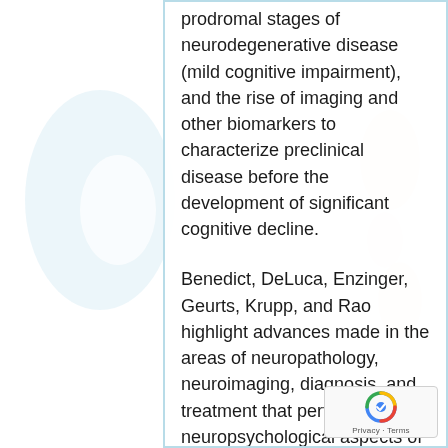prodromal stages of neurodegenerative disease (mild cognitive impairment), and the rise of imaging and other biomarkers to characterize preclinical disease before the development of significant cognitive decline.
Benedict, DeLuca, Enzinger, Geurts, Krupp, and Rao highlight advances made in the areas of neuropathology, neuroimaging, diagnosis, and treatment that pertain to the neuropsychological aspects of multiple sclerosis (MS). This review focuses on the discovery that MS produces pathological lesions of gray matter that have consequences for cognitive functions, the use of